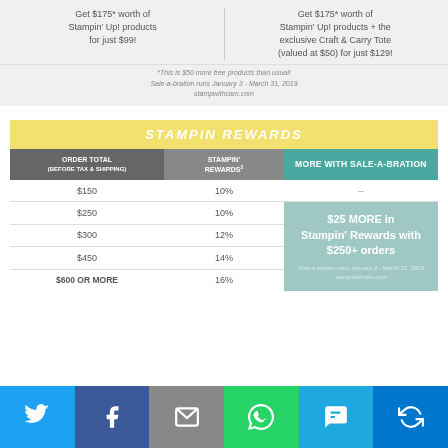Get $175* worth of Stampin' Up! products for just $99!
Get $175* worth of Stampin' Up! products + the exclusive Craft & Carry Tote (valued at $50) for just $129!
*This is $50 more free products than usual! Sale-a-bration runs January 3 - March 31, 2019 stampwithcam.com
| ORDER TOTAL (BEFORE TAX & SHIPPING) | STAMPIN' REWARDS² | MORE WITH SALE-A-BRATION |
| --- | --- | --- |
| $150 | 10% | – |
| $250 | 10% | $25 MORE in Stampin' Rewards with $250+ orders |
| $300 | 12% |  |
| $450 | 14% |  |
| $600 OR MORE | 16% |  |
[Figure (infographic): Social media sharing buttons: Twitter (blue), Facebook (dark blue), Email (gray), WhatsApp (green), SMS (light blue), Other (blue)]